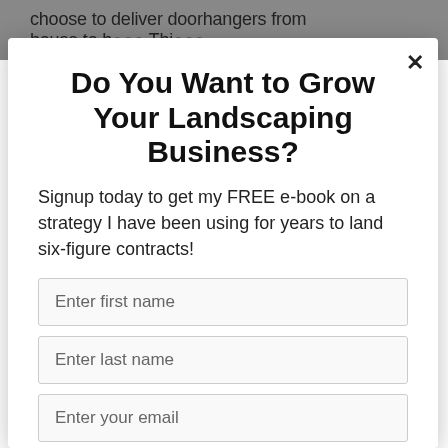choose to deliver doorhangers from house to h... Thi...
Do You Want to Grow Your Landscaping Business?
Signup today to get my FREE e-book on a strategy I have been using for years to land six-figure contracts!
Enter first name
Enter last name
Enter your email
Subscribe